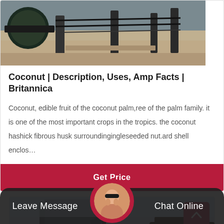[Figure (photo): Industrial machine/conveyor equipment photo at top of card]
Coconut | Description, Uses, Amp Facts | Britannica
Coconut, edible fruit of the coconut palm,ree of the palm family. it is one of the most important crops in the tropics. the coconut hashick fibrous husk surroundingingleseeded nut.ard shell enclos…
Get Price
[Figure (photo): Industrial crushing/screening equipment photo in second card]
Leave Message
[Figure (photo): Customer service avatar/headset photo]
Chat Online